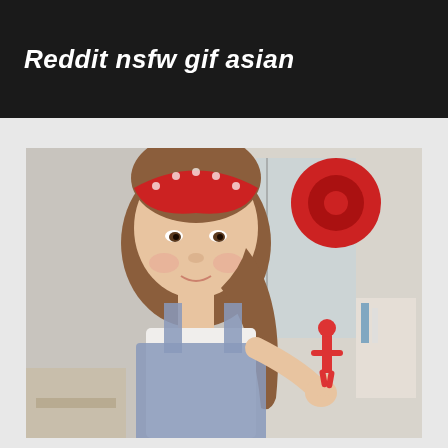Reddit nsfw gif asian
[Figure (photo): A young woman wearing a red polka-dot bandana headband and denim overalls over a white tank top, holding a small red figurine. She is in what appears to be a workshop or studio setting with a red spool and shelving in the background.]